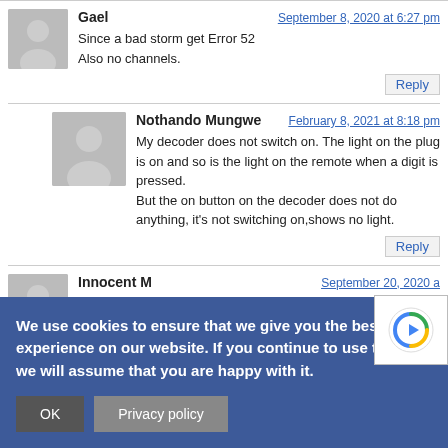Gael — September 8, 2020 at 6:27 pm
Since a bad storm get Error 52
Also no channels.
Nothando Mungwe — February 8, 2021 at 8:18 pm
My decoder does not switch on. The light on the plug is on and so is the light on the remote when a digit is pressed.
But the on button on the decoder does not do anything, it's not switching on,shows no light.
Innocent M — September 20, 2020 a...
Hio my decoder only shows 12tv channels and 1...
We use cookies to ensure that we give you the best experience on our website. If you continue to use this site we will assume that you are happy with it.